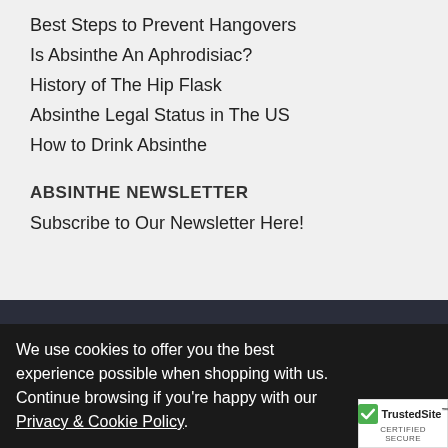Best Steps to Prevent Hangovers
Is Absinthe An Aphrodisiac?
History of The Hip Flask
Absinthe Legal Status in The US
How to Drink Absinthe
ABSINTHE NEWSLETTER
Subscribe to Our Newsletter Here!
SUPPORT
CATALOG
CONTACT US
We use cookies to offer you the best experience possible when shopping with us. Continue browsing if you're happy with our Privacy & Cookie Policy.